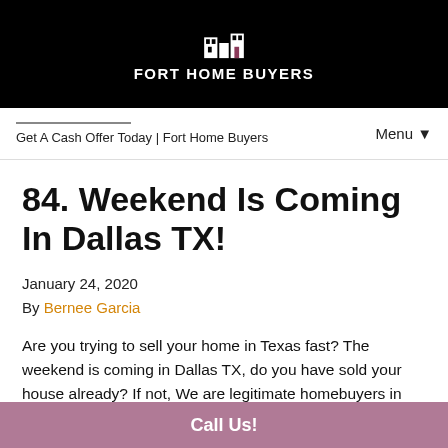FORT HOME BUYERS
Get A Cash Offer Today | Fort Home Buyers
Menu ▼
84. Weekend Is Coming In Dallas TX!
January 24, 2020
By Bernee Garcia
Are you trying to sell your home in Texas fast? The weekend is coming in Dallas TX, do you have sold your house already? If not, We are legitimate homebuyers in Texas and we can help! We buy houses in Dallas T...
Call Us!